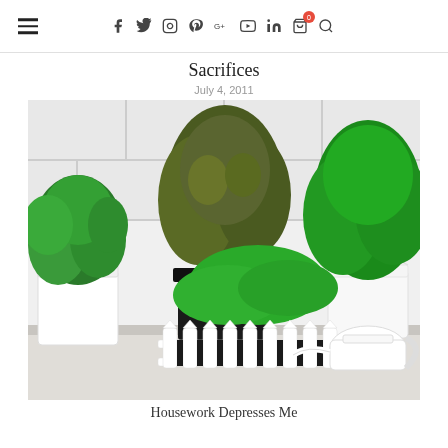≡  f  𝕏  ⊕  ⊕  G+  ▶  in  🛒0  🔍
Sacrifices
July 4, 2011
[Figure (photo): Photo of several potted herb plants (mint, thyme, basil, parsley) arranged on a white counter against white subway tile backsplash, with a small white picket fence decoration and a white watering can]
Housework Depresses Me